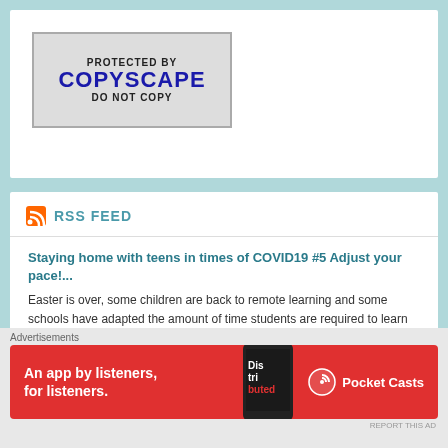[Figure (logo): Copyscape badge reading PROTECTED BY COPYSCAPE DO NOT COPY]
RSS FEED
Staying home with teens in times of COVID19 #5 Adjust your pace!...
Easter is over, some children are back to remote learning and some schools have adapted the amount of time students are required to learn online (or offline). They adjusted the pace of holding lessons online and if you ask me, it was so necessary to do so! Following [...]
Staying home with teens in times of COVID19 #4
Advertisements
An app by listeners, for listeners.
REPORT THIS AD